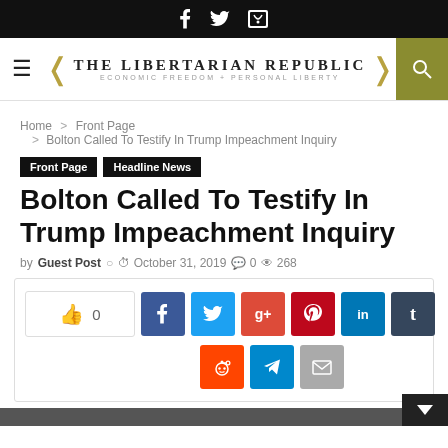The Libertarian Republic — Economic Freedom + Personal Liberty
Home > Front Page > Bolton Called To Testify In Trump Impeachment Inquiry
Front Page | Headline News
Bolton Called To Testify In Trump Impeachment Inquiry
by Guest Post — October 31, 2019 — 0 comments — 268 views
[Figure (infographic): Social share bar with like button (thumbs up, 0), Facebook, Twitter, Google+, Pinterest, LinkedIn, Tumblr, Reddit, Telegram, Email share buttons]